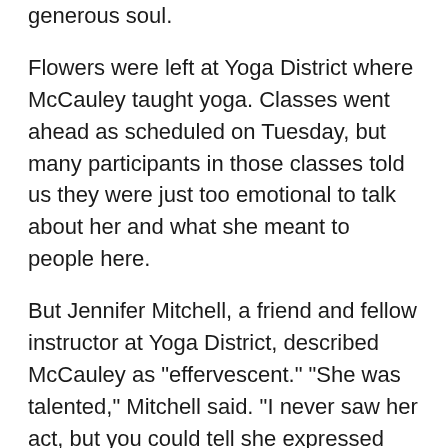generous soul.
Flowers were left at Yoga District where McCauley taught yoga. Classes went ahead as scheduled on Tuesday, but many participants in those classes told us they were just too emotional to talk about her and what she meant to people here.
But Jennifer Mitchell, a friend and fellow instructor at Yoga District, described McCauley as "effervescent." "She was talented," Mitchell said. "I never saw her act, but you could tell she expressed her emotions and was kind and generous. I think that is what made her a good yoga teacher as well."
Yoga was just one of many passions for McCauley. She was an herbalist at Common Good City Farm near Howard University Hospital. She also ran a business